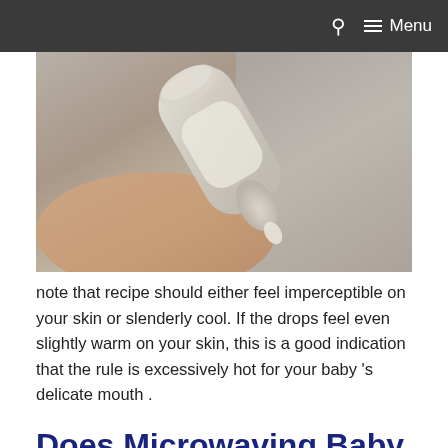Menu
[Figure (photo): Close-up photo of a hand holding a baby bottle with milk/formula, bottle tilted downward showing the nipple with a drop of liquid.]
note that recipe should either feel imperceptible on your skin or slenderly cool. If the drops feel even slightly warm on your skin, this is a good indication that the rule is excessively hot for your baby 's delicate mouth .
Does Microwaving Baby